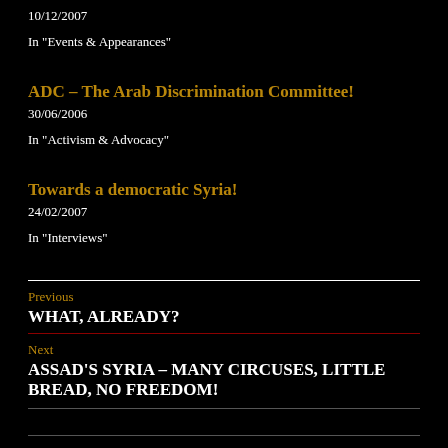10/12/2007
In "Events & Appearances"
ADC – The Arab Discrimination Committee!
30/06/2006
In "Activism & Advocacy"
Towards a democratic Syria!
24/02/2007
In "Interviews"
Previous
WHAT, ALREADY?
Next
ASSAD'S SYRIA – MANY CIRCUSES, LITTLE BREAD, NO FREEDOM!